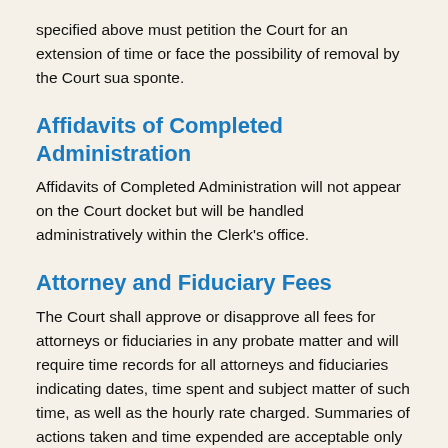specified above must petition the Court for an extension of time or face the possibility of removal by the Court sua sponte.
Affidavits of Completed Administration
Affidavits of Completed Administration will not appear on the Court docket but will be handled administratively within the Clerk's office.
Attorney and Fiduciary Fees
The Court shall approve or disapprove all fees for attorneys or fiduciaries in any probate matter and will require time records for all attorneys and fiduciaries indicating dates, time spent and subject matter of such time, as well as the hourly rate charged. Summaries of actions taken and time expended are acceptable only in rare circumstances and at the Probate Judge's discretion.